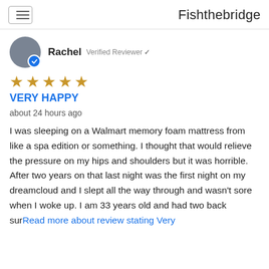Fishthebridge
Rachel  Verified Reviewer ✓
[Figure (other): 5 gold star rating]
VERY HAPPY
about 24 hours ago
I was sleeping on a Walmart memory foam mattress from like a spa edition or something. I thought that would relieve the pressure on my hips and shoulders but it was horrible. After two years on that last night was the first night on my dreamcloud and I slept all the way through and wasn't sore when I woke up. I am 33 years old and had two back surRead more about review stating Very